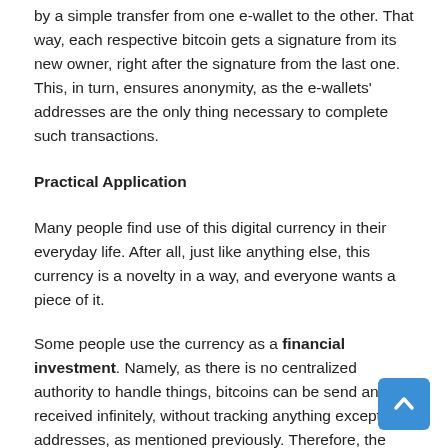by a simple transfer from one e-wallet to the other. That way, each respective bitcoin gets a signature from its new owner, right after the signature from the last one. This, in turn, ensures anonymity, as the e-wallets' addresses are the only thing necessary to complete such transactions.
Practical Application
Many people find use of this digital currency in their everyday life. After all, just like anything else, this currency is a novelty in a way, and everyone wants a piece of it.
Some people use the currency as a financial investment. Namely, as there is no centralized authority to handle things, bitcoins can be send and received infinitely, without tracking anything except the addresses, as mentioned previously. Therefore, the supply and demand determine its value, and most people buy it as an investment, hoping to sell it when its